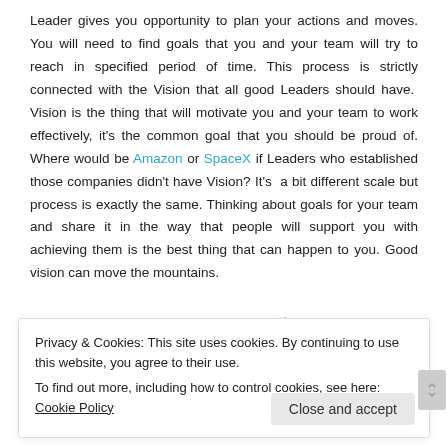Leader gives you opportunity to plan your actions and moves. You will need to find goals that you and your team will try to reach in specified period of time. This process is strictly connected with the Vision that all good Leaders should have. Vision is the thing that will motivate you and your team to work effectively, it's the common goal that you should be proud of. Where would be Amazon or SpaceX if Leaders who established those companies didn't have Vision? It's a bit different scale but process is exactly the same. Thinking about goals for your team and share it in the way that people will support you with achieving them is the best thing that can happen to you. Good vision can move the mountains.
[Figure (illustration): Row of icons partially visible at the bottom of the main content area, showing cloud and arrow/mountain shapes in teal and gray tones.]
Privacy & Cookies: This site uses cookies. By continuing to use this website, you agree to their use.
To find out more, including how to control cookies, see here: Cookie Policy